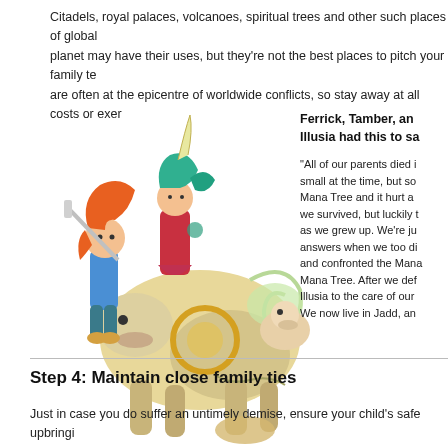Citadels, royal palaces, volcanoes, spiritual trees and other such places of global significance on the planet may have their uses, but they're not the best places to pitch your family tent. These locations are often at the epicentre of worldwide conflicts, so stay away at all costs or exer…
[Figure (illustration): Colorful anime-style characters: two warriors and a large creature/mount from a fantasy RPG game (appears to be from Children of Mana or similar game)]
Ferrick, Tamber, and Illusia had this to sa…
“All of our parents died i… small at the time, but so… Mana Tree and it hurt a… we survived, but luckily t… as we grew up. We’re ju… answers when we too di… and confronted the Mana… Mana Tree. After we def… Illusia to the care of our … We now live in Jadd, an…
Step 4: Maintain close family ties
Just in case you do suffer an untimely demise, ensure your child’s safe upbringi… relatives. Grandparents, aunts, uncles, brothers and sisters– as long as you get a…